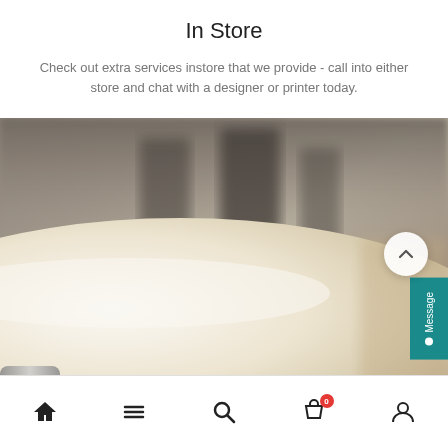In Store
Check out extra services instore that we provide - call into either store and chat with a designer or printer today.
[Figure (photo): Close-up photograph of a printing press roller/cylinder, cream-colored with blurred industrial machinery in the background]
Home | Menu | Search | Cart (0) | Account